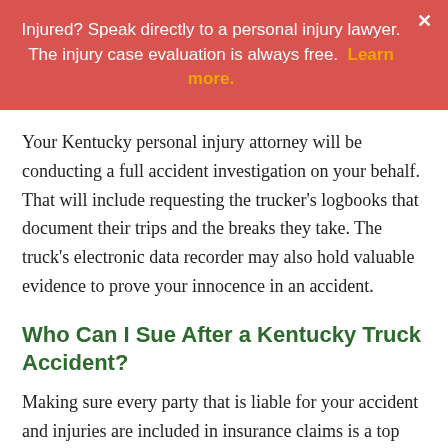Injured? Speak directly to a personal injury lawyer. The injury case evaluation is always free. Learn more.
Your Kentucky personal injury attorney will be conducting a full accident investigation on your behalf. That will include requesting the trucker's logbooks that document their trips and the breaks they take. The truck's electronic data recorder may also hold valuable evidence to prove your innocence in an accident.
Who Can I Sue After a Kentucky Truck Accident?
Making sure every party that is liable for your accident and injuries are included in insurance claims is a top prior... driver's commercial insurance may have a very low ca... the benefits it will pay you. This may leave you cleaning out